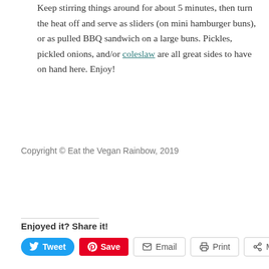Keep stirring things around for about 5 minutes, then turn the heat off and serve as sliders (on mini hamburger buns), or as pulled BBQ sandwich on a large buns. Pickles, pickled onions, and/or coleslaw are all great sides to have on hand here. Enjoy!
Copyright © Eat the Vegan Rainbow, 2019
Enjoyed it? Share it!
Tweet  Save  Email  Print  More